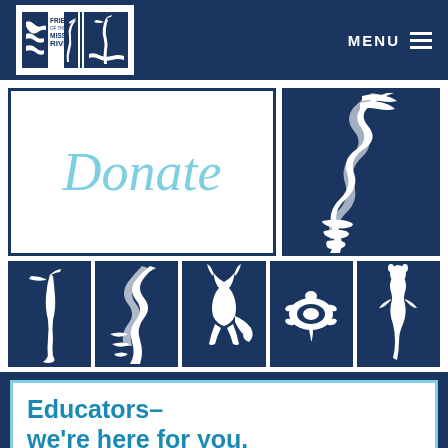Friends of the Mississippi River — MENU
[Figure (illustration): Donate button box with light blue italic text 'Donate' on white background with dark blue border]
[Figure (illustration): Dark blue box with white stylized illustration of the Mississippi River winding path]
[Figure (illustration): Row of five dark blue icon cards: great blue heron, river winding, fox, turtle, otter/mink]
Educators–
we're here for you.